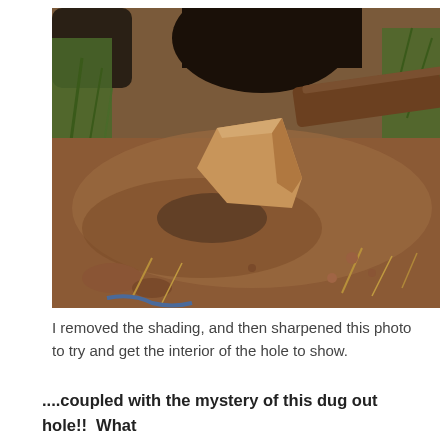[Figure (photo): Outdoor photo showing a hole or burrow entrance with reddish-brown dirt ground, a tan/orange rock, dry grass and green vegetation around the edges, dark opening at the top suggesting a cave or dug-out hole.]
I removed the shading, and then sharpened this photo to try and get the interior of the hole to show.
....coupled with the mystery of this dug out hole!!  What